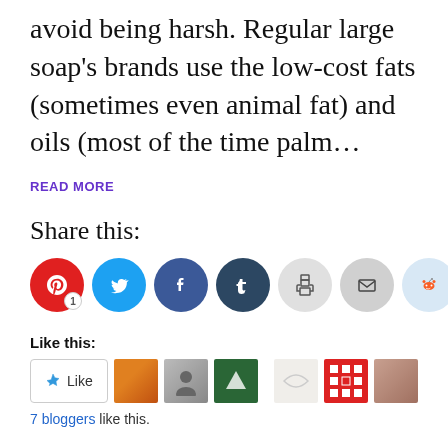avoid being harsh. Regular large soap's brands use the low-cost fats (sometimes even animal fat) and oils (most of the time palm...
READ MORE
Share this:
[Figure (infographic): Row of 8 circular social share buttons: Pinterest (red, badge '1'), Twitter (blue), Facebook (blue), Tumblr (dark blue), Print (light grey), Email (grey), Reddit (light blue), WhatsApp (green)]
Like this:
[Figure (infographic): Like button widget showing a star Like button and 6 small avatar thumbnails of bloggers]
7 bloggers like this.